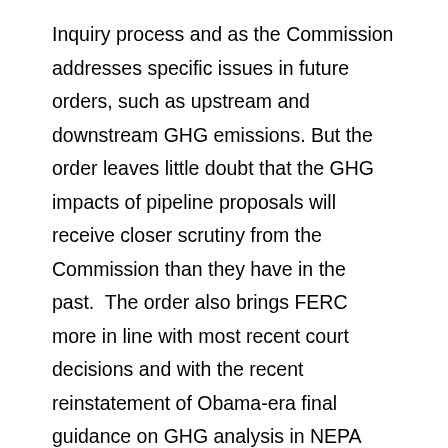Inquiry process and as the Commission addresses specific issues in future orders, such as upstream and downstream GHG emissions. But the order leaves little doubt that the GHG impacts of pipeline proposals will receive closer scrutiny from the Commission than they have in the past. The order also brings FERC more in line with most recent court decisions and with the recent reinstatement of Obama-era final guidance on GHG analysis in NEPA reviews.
Given the importance of the issue, interested parties should avail themselves of the opportunity to comment in the Notice of Inquiry proceeding (FERC Docket No. PL18-1-000). They may also wish to let us know some of the…